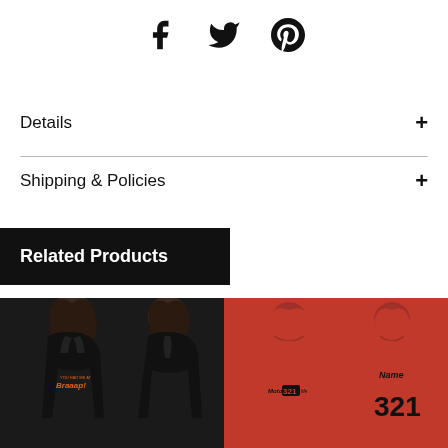[Figure (other): Social media share icons: Facebook, Twitter, Pinterest]
Details +
Shipping & Policies +
Related Products
[Figure (photo): Two women wearing black racerback tank tops with orange 'You Had Me At Braaap!' text]
[Figure (photo): Two red hoodies showing front with Moto321 logo and back with custom Name and number 321]